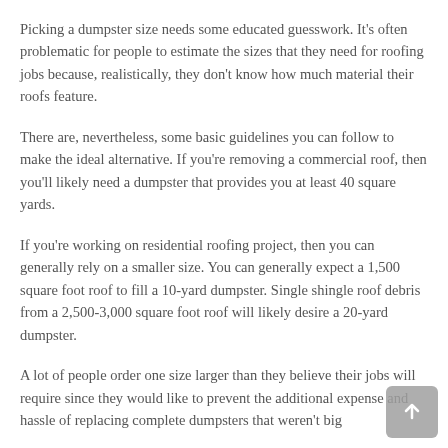Picking a dumpster size needs some educated guesswork. It's often problematic for people to estimate the sizes that they need for roofing jobs because, realistically, they don't know how much material their roofs feature.
There are, nevertheless, some basic guidelines you can follow to make the ideal alternative. If you're removing a commercial roof, then you'll likely need a dumpster that provides you at least 40 square yards.
If you're working on residential roofing project, then you can generally rely on a smaller size. You can generally expect a 1,500 square foot roof to fill a 10-yard dumpster. Single shingle roof debris from a 2,500-3,000 square foot roof will likely desire a 20-yard dumpster.
A lot of people order one size larger than they believe their jobs will require since they would like to prevent the additional expense and hassle of replacing complete dumpsters that weren't big